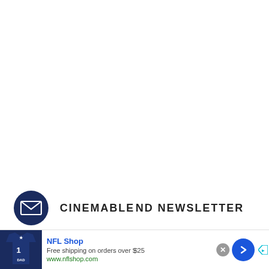[Figure (other): Blank white area at top of page, above newsletter bar]
CINEMABLEND NEWSLETTER
[Figure (infographic): NFL Shop advertisement banner with navy jersey image, 'NFL Shop' title, 'Free shipping on orders over $25', 'www.nflshop.com', close button, and blue arrow navigation button]